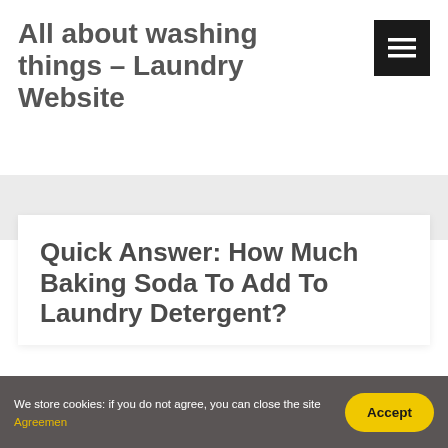All about washing things – Laundry Website
Quick Answer: How Much Baking Soda To Add To Laundry Detergent?
We store cookies: if you do not agree, you can close the site Agreemen Accept